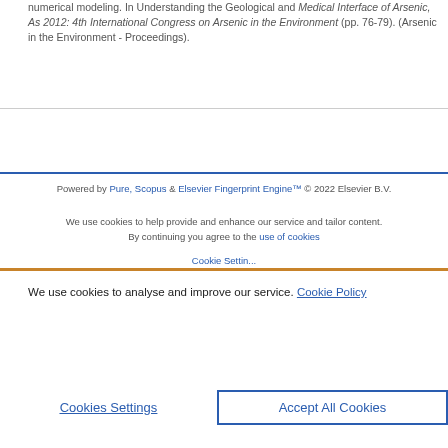numerical modeling. In Understanding the Geological and Medical Interface of Arsenic, As 2012: 4th International Congress on Arsenic in the Environment (pp. 76-79). (Arsenic in the Environment - Proceedings).
Powered by Pure, Scopus & Elsevier Fingerprint Engine™ © 2022 Elsevier B.V.
We use cookies to help provide and enhance our service and tailor content. By continuing you agree to the use of cookies
We use cookies to analyse and improve our service. Cookie Policy
Cookies Settings | Accept All Cookies